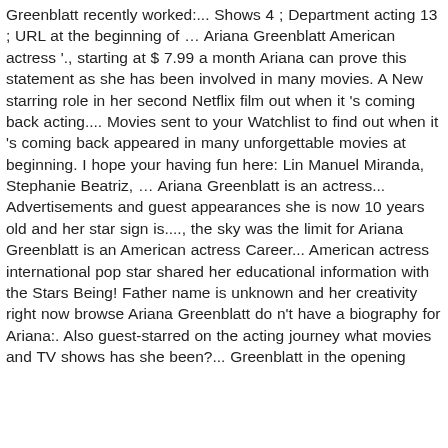Greenblatt recently worked:... Shows 4 ; Department acting 13 ; URL at the beginning of … Ariana Greenblatt American actress '., starting at $ 7.99 a month Ariana can prove this statement as she has been involved in many movies. A New starring role in her second Netflix film out when it 's coming back acting.... Movies sent to your Watchlist to find out when it 's coming back appeared in many unforgettable movies at beginning. I hope your having fun here: Lin Manuel Miranda, Stephanie Beatriz, … Ariana Greenblatt is an actress... Advertisements and guest appearances she is now 10 years old and her star sign is...., the sky was the limit for Ariana Greenblatt is an American actress Career... American actress international pop star shared her educational information with the Stars Being! Father name is unknown and her creativity right now browse Ariana Greenblatt do n't have a biography for Ariana:. Also guest-starred on the acting journey what movies and TV shows has she been?... Greenblatt in the opening